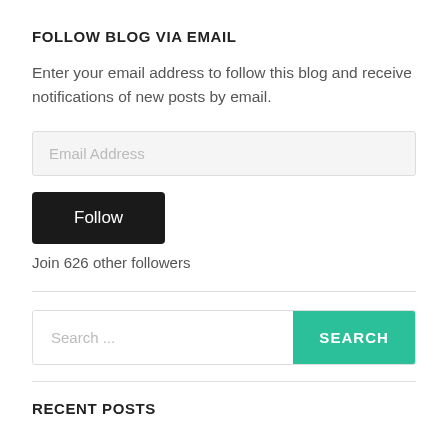FOLLOW BLOG VIA EMAIL
Enter your email address to follow this blog and receive notifications of new posts by email.
[Figure (screenshot): Email address input field with placeholder text 'Email Address' on a light gray background]
[Figure (screenshot): Black 'Follow' button]
Join 626 other followers
[Figure (screenshot): Search bar with placeholder text 'Search ...' and a teal 'SEARCH' button]
RECENT POSTS